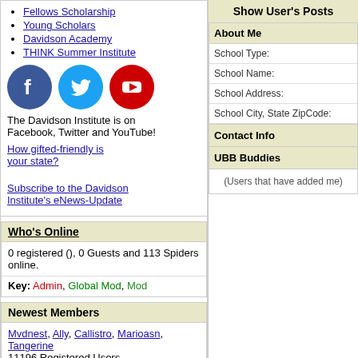Fellows Scholarship
Young Scholars
Davidson Academy
THINK Summer Institute
[Figure (illustration): Facebook, Twitter, and YouTube social media icons]
The Davidson Institute is on Facebook, Twitter and YouTube!
How gifted-friendly is your state?
Subscribe to the Davidson Institute's eNews-Update
Who's Online
0 registered (), 0 Guests and 113 Spiders online.
Key: Admin, Global Mod, Mod
Newest Members
Mvdnest, Ally, Callistro, Marioasn, Tangerine
11196 Registered Users
Show User's Posts
About Me
| School Type: |
| School Name: |
| School Address: |
| School City, State ZipCode: |
Contact Info
UBB Buddies
(Users that have added me)